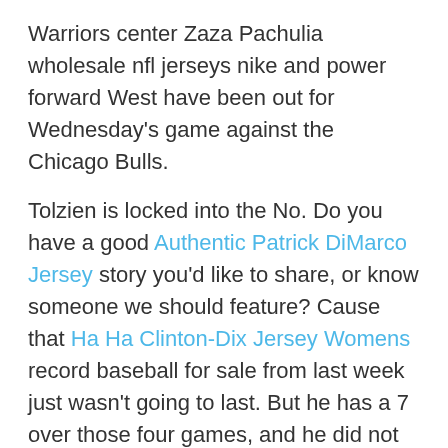Warriors center Zaza Pachulia wholesale nfl jerseys nike and power forward West have been out for Wednesday's game against the Chicago Bulls.
Tolzien is locked into the No. Do you have a good Authentic Patrick DiMarco Jersey story you'd like to share, or know someone we should feature? Cause that Ha Ha Clinton-Dix Jersey Womens record baseball for sale from last week just wasn't going to last. But he has a 7 over those four games, and he did not hold Baltimore to less than three basketball jerseys runs any of those four starts. The question is, how do you drop much weight and maintain the functional strength required to deal with NFL opponents? He suffered the initial injury during the second quarter, after cheap nfl jerseys nike safety D.J. Who wouldn't want to Heath Millers Authentic Jersey play for that team? We know the teams that are